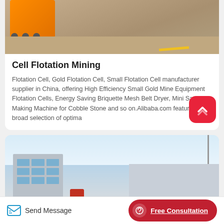[Figure (photo): Orange industrial flotation mining equipment machine on ground with yellow line marking]
Cell Flotation Mining
Flotation Cell, Gold Flotation Cell, Small Flotation Cell manufacturer supplier in China, offering High Efficiency Small Gold Mine Equipment Flotation Cells, Energy Saving Briquette Mesh Belt Dryer, Mini Sand Making Machine for Cobble Stone and so on.Alibaba.com features a broad selection of optima
[Figure (photo): Industrial factory building exterior with blue glass upper floors and grey lower floors, red machinery visible, flagpole on right]
Send Message
Free Consultation